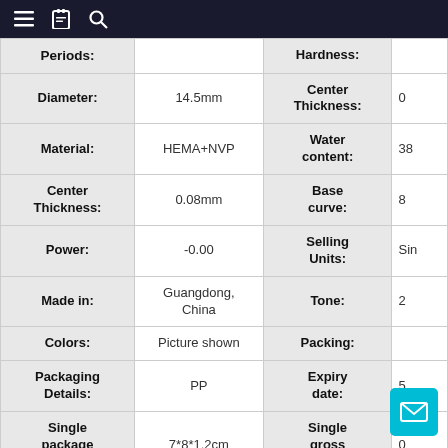| Label | Value | Label | Value |
| --- | --- | --- | --- |
| Periods: |  | Hardness: |  |
| Diameter: | 14.5mm | Center Thickness: | 0 |
| Material: | HEMA+NVP | Water content: | 38 |
| Center Thickness: | 0.08mm | Base curve: | 8 |
| Power: | -0.00 | Selling Units: | Sin |
| Made in: | Guangdong, China | Tone: | 2 |
| Colors: | Picture shown | Packing: |  |
| Packaging Details: | PP | Expiry date: | 5 |
| Single package size: | 7*8*1.2cm | Single gross weight: | 0 |